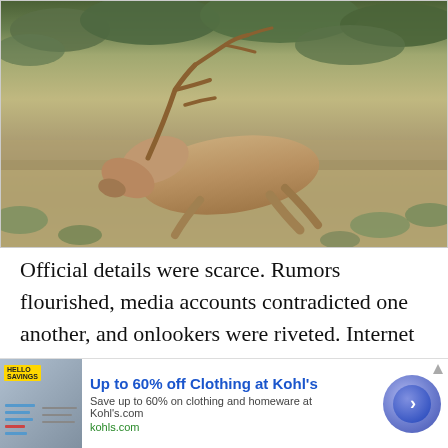[Figure (photo): A dead elk with large antlers lying on dry grass and sagebrush terrain, viewed from the side.]
Official details were scarce. Rumors flourished, media accounts contradicted one another, and onlookers were riveted. Internet voyeurs swapped lurid details and unconfirmed stories on social media, and the duck hunting community was genuinely stricken by the...
[Figure (screenshot): Advertisement banner: Up to 60% off Clothing at Kohl's. Save up to 60% on clothing and homeware at Kohl's.com. kohls.com. Shows a circular arrow button and Kohl's savings thumbnail.]